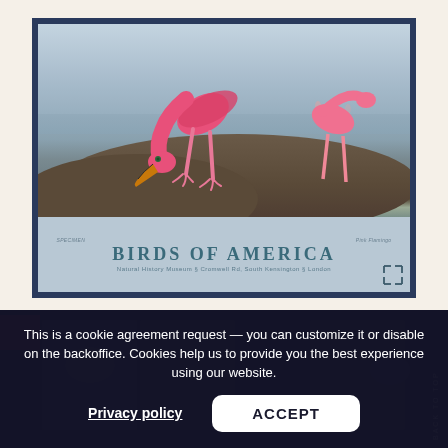[Figure (illustration): A framed poster showing 'Birds of America' with a pink flamingo illustration. The poster has a light blue-grey background, shows flamingos on rocky shoreline, with text 'BIRDS OF AMERICA' and subtitle 'Natural History Museum § Cromwell Rd, South Kensington § London'. Small text reads 'SPECIMEN' on left and 'Pink Flamingo' on right. A fullscreen expand icon is in the bottom-right corner.]
This is a cookie agreement request — you can customize it or disable on the backoffice. Cookies help us to provide you the best experience using our website.
Privacy policy
ACCEPT